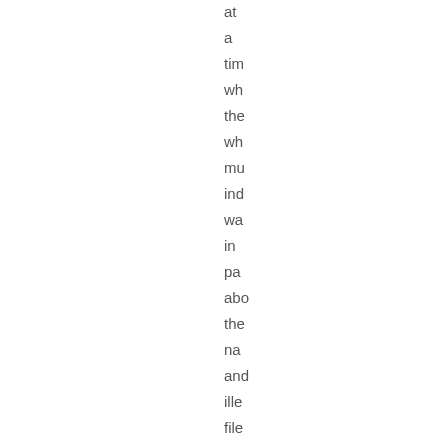at
a
tim
wh
the
wh
mu
ind
wa
in
pa
abo
the
na
and
ille
file
sh